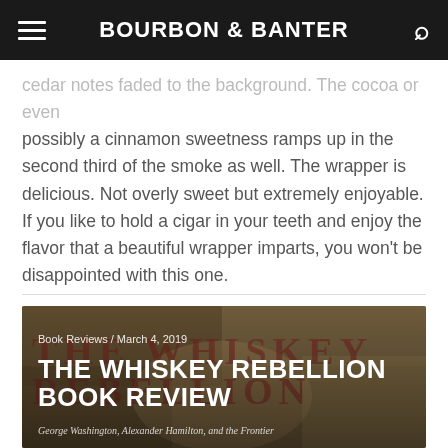BOURBON & BANTER
cedar notes faded to the background. The cocoa or even possibly a cinnamon sweetness ramps up in the second third of the smoke as well. The wrapper is delicious. Not overly sweet but extremely enjoyable. If you like to hold a cigar in your teeth and enjoy the flavor that a beautiful wrapper imparts, you won't be disappointed with this one.
Book Reviews / March 4, 2019
THE WHISKEY REBELLION BOOK REVIEW
George Washington, Alexander Hamilton, and the Frontier